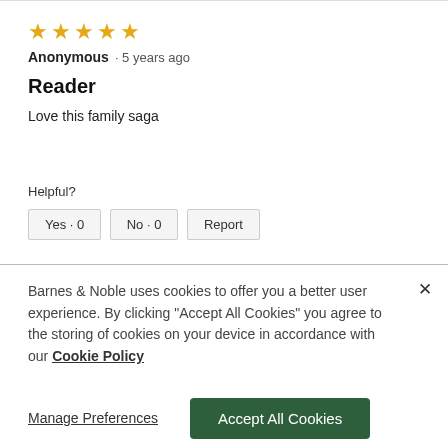[Figure (other): Five orange star rating icons]
Anonymous · 5 years ago
Reader
Love this family saga
Helpful?
Yes · 0   No · 0   Report
Barnes & Noble uses cookies to offer you a better user experience. By clicking "Accept All Cookies" you agree to the storing of cookies on your device in accordance with our Cookie Policy
Manage Preferences
Accept All Cookies